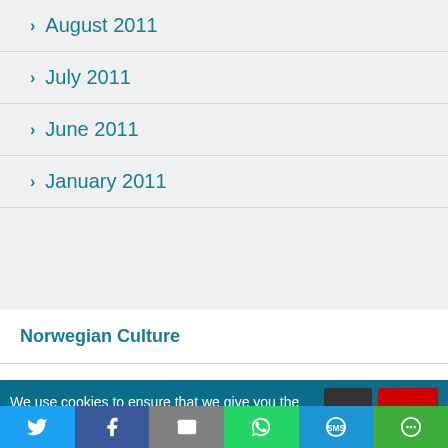August 2011
July 2011
June 2011
January 2011
Norwegian Culture
Featured Recipes >
Norwegian Language Lessons >
We use cookies to ensure that we give you the
Twitter | Facebook | Email | WhatsApp | SMS | More